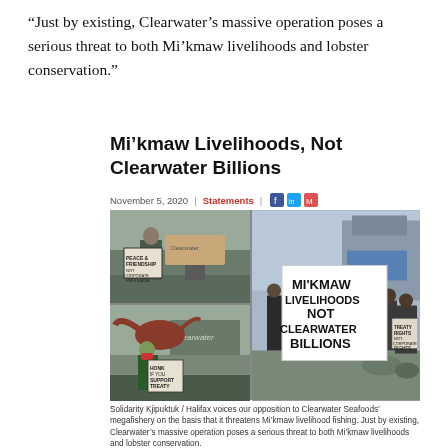“Just by existing, Clearwater’s massive operation poses a serious threat to both Mi’kmaw livelihoods and lobster conservation.”
Mi’kmaw Livelihoods, Not Clearwater Billions
November 5, 2020 | Statements
[Figure (photo): Collage of four protest photos showing demonstrators holding signs outside Clearwater Seafoods. Signs read: 'Peace & Friendship not Corporate Privilege', 'Honk if you support treaty', 'Mi'kmaw Livelihoods Not Clearwater Billions' (large banner), and 'Treaty Rights Not Corporate Rights'.]
Solidarity Kjipuktuk / Halifax voices our opposition to Clearwater Seafoods’ megafishery on the basis that it threatens Mi’kmaw livelihood fishing. Just by existing, Clearwater’s massive operation poses a serious threat to both Mi’kmaw livelihoods and lobster conservation.